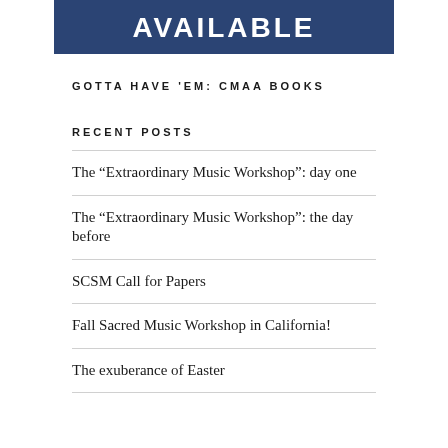[Figure (other): Dark blue banner with white bold text reading AVAILABLE]
GOTTA HAVE 'EM: CMAA BOOKS
RECENT POSTS
The “Extraordinary Music Workshop”: day one
The “Extraordinary Music Workshop”: the day before
SCSM Call for Papers
Fall Sacred Music Workshop in California!
The exuberance of Easter